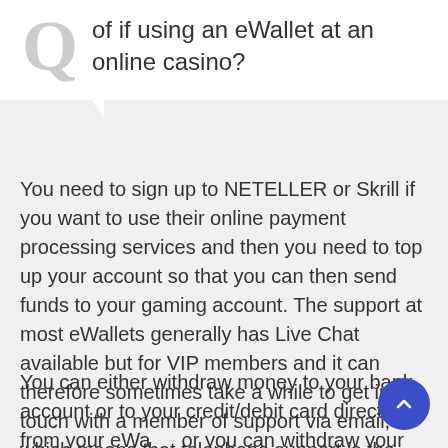of if using an eWallet at an online casino?
You need to sign up to NETELLER or Skrill if you want to use their online payment processing services and then you need to top up your account so that you can then send funds to your gaming account. The support at most eWallets generally has Live Chat available but for VIP members and it can therefore sometimes take a while to get in touch with a member of support via email, which means that telephone support is the best way to contact them.
You can either withdraw money to your bank account or to your credit/debit card directly from your eWallet or you can withdraw your money from your e-Wallet